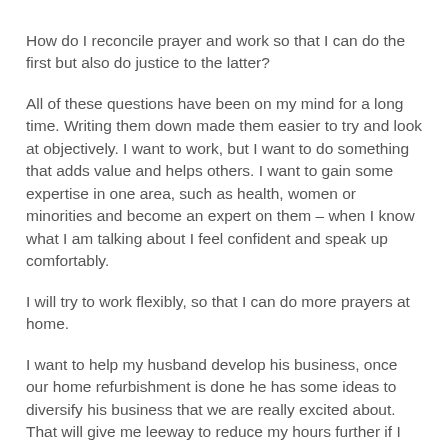How do I reconcile prayer and work so that I can do the first but also do justice to the latter?
All of these questions have been on my mind for a long time. Writing them down made them easier to try and look at objectively. I want to work, but I want to do something that adds value and helps others. I want to gain some expertise in one area, such as health, women or minorities and become an expert on them – when I know what I am talking about I feel confident and speak up comfortably.
I will try to work flexibly, so that I can do more prayers at home.
I want to help my husband develop his business, once our home refurbishment is done he has some ideas to diversify his business that we are really excited about. That will give me leeway to reduce my hours further if I choose to